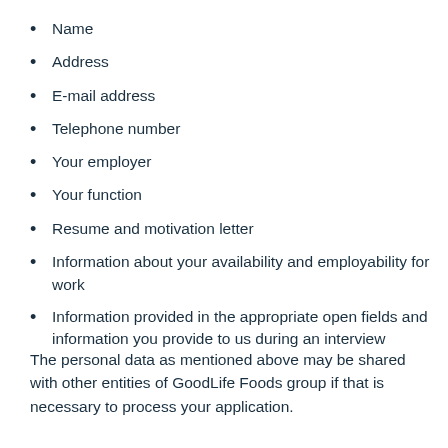Name
Address
E-mail address
Telephone number
Your employer
Your function
Resume and motivation letter
Information about your availability and employability for work
Information provided in the appropriate open fields and information you provide to us during an interview
The personal data as mentioned above may be shared with other entities of GoodLife Foods group if that is necessary to process your application.